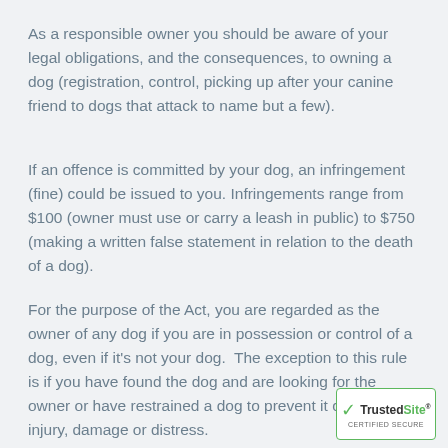As a responsible owner you should be aware of your legal obligations, and the consequences, to owning a dog (registration, control, picking up after your canine friend to dogs that attack to name but a few).
If an offence is committed by your dog, an infringement (fine) could be issued to you. Infringements range from $100 (owner must use or carry a leash in public) to $750 (making a written false statement in relation to the death of a dog).
For the purpose of the Act, you are regarded as the owner of any dog if you are in possession or control of a dog, even if it's not your dog.  The exception to this rule is if you have found the dog and are looking for the owner or have restrained a dog to prevent it causing injury, damage or distress.
[Figure (logo): TrustedSite Certified Secure badge with green checkmark]